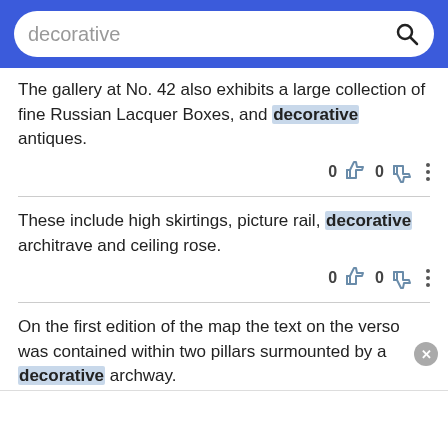decorative [search bar]
The gallery at No. 42 also exhibits a large collection of fine Russian Lacquer Boxes, and decorative antiques.
0  0  [thumbs up/down icons]
These include high skirtings, picture rail, decorative architrave and ceiling rose.
0  0  [thumbs up/down icons]
On the first edition of the map the text on the verso was contained within two pillars surmounted by a decorative archway.
0  0  [thumbs up/down icons]